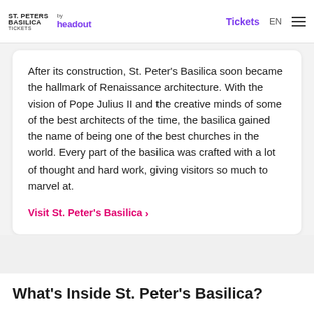ST. PETERS BASILICA TICKETS by headout — Tickets EN ☰
After its construction, St. Peter's Basilica soon became the hallmark of Renaissance architecture. With the vision of Pope Julius II and the creative minds of some of the best architects of the time, the basilica gained the name of being one of the best churches in the world. Every part of the basilica was crafted with a lot of thought and hard work, giving visitors so much to marvel at.
Visit St. Peter's Basilica ›
What's Inside St. Peter's Basilica?